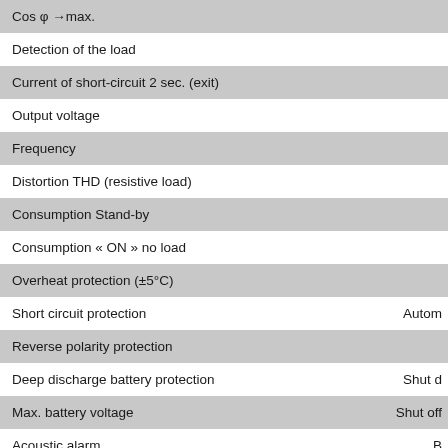| Parameter | Value |
| --- | --- |
| Cos φ →max. |  |
| Detection of the load |  |
| Current of short-circuit 2 sec. (exit) |  |
| Output voltage |  |
| Frequency |  |
| Distortion THD (resistive load) |  |
| Consumption Stand-by |  |
| Consumption « ON » no load |  |
| Overheat protection (±5°C) |  |
| Short circuit protection | Autom |
| Reverse polarity protection |  |
| Deep discharge battery protection | Shut d |
| Max. battery voltage | Shut off |
| Acoustic alarm | B |
| General data: |  |